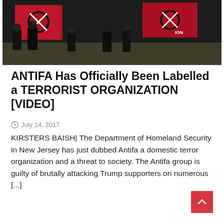[Figure (photo): Group of people holding red and black Antifa flags outdoors]
ANTIFA Has Officially Been Labelled a TERRORIST ORGANIZATION [VIDEO]
July 14, 2017
KIRSTERS BAISH| The Department of Homeland Security in New Jersey has just dubbed Antifa a domestic terror organization and a threat to society. The Antifa group is guilty of brutally attacking Trump supporters on numerous [...]
[Figure (photo): Man in dark suit looking upward, featured article image with FEATURED badge overlay]